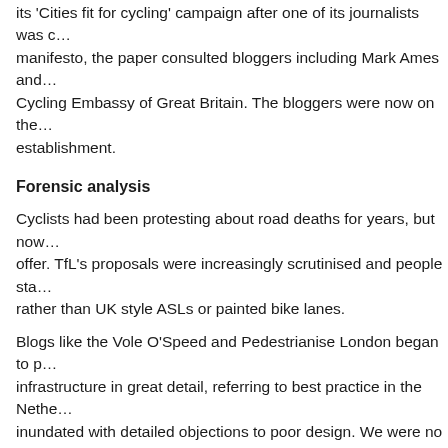its 'Cities fit for cycling' campaign after one of its journalists was c… manifesto, the paper consulted bloggers including Mark Ames and… Cycling Embassy of Great Britain. The bloggers were now on the… establishment.
Forensic analysis
Cyclists had been protesting about road deaths for years, but now… offer. TfL's proposals were increasingly scrutinised and people sta… rather than UK style ASLs or painted bike lanes.
Blogs like the Vole O'Speed and Pedestrianise London began to p… infrastructure in great detail, referring to best practice in the Nethe… inundated with detailed objections to poor design. We were no lor… lanes. We wanted good ones.
How the Dutch got their Cycle Paths
If you are at all involved in cycle campaigning these days, someor… video, possibly even your mum.